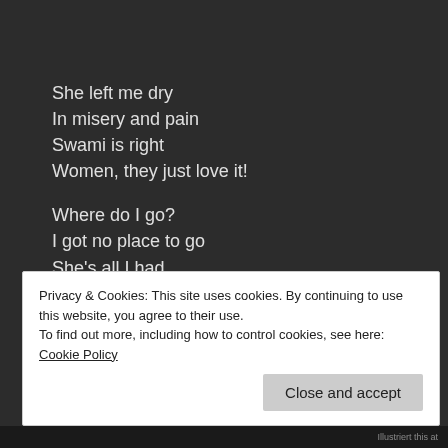She left me dry
In misery and pain
Swami is right
Women, they just love it!

Where do I go?
I got no place to go
She's all I had…
Swami…Not again!
Whatever…
My voice dialing
Not equipped to handle my slurs
Privacy & Cookies: This site uses cookies. By continuing to use this website, you agree to their use.
To find out more, including how to control cookies, see here: Cookie Policy